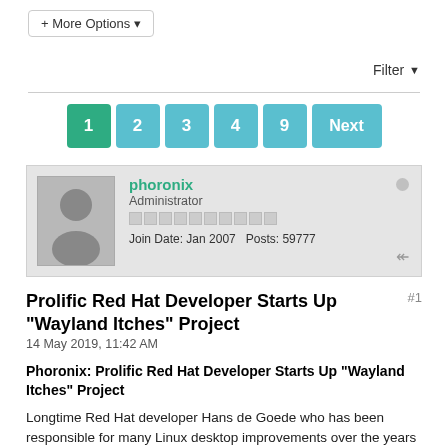+ More Options ▾
Filter ▼
1  2  3  4  9  Next
[Figure (illustration): User avatar placeholder showing a grey silhouette of a person on a light grey background]
phoronix
Administrator
Join Date: Jan 2007   Posts: 59777
Prolific Red Hat Developer Starts Up "Wayland Itches" Project
#1
14 May 2019, 11:42 AM
Phoronix: Prolific Red Hat Developer Starts Up "Wayland Itches" Project
Longtime Red Hat developer Hans de Goede who has been responsible for many Linux desktop improvements over the years from laptop support fixes to open-source GPU driver fixes to most recently flicker-free boot has a new area of